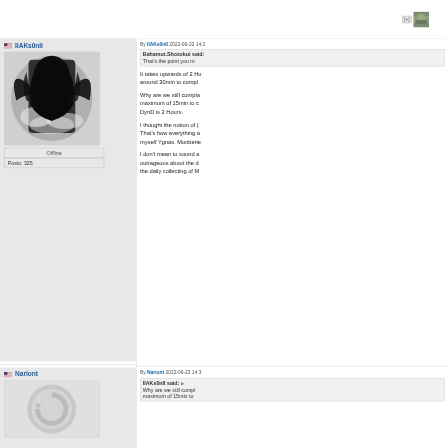[Figure (screenshot): Forum post top strip with [+] button and thumbnail image]
IIAKs0nII
[Figure (photo): Dark fantasy creature avatar image for user IIAKs0nII]
Offline
Posts: 325
By IIAKs0nII 2022-06-23 14:2
Bahamut.Shozokui said:
That's the point you m
It takes upwards of 2 Ho around 30min to compl
Why are we still compla maximum of 15min to c DynD is 2 Hours.
I thought the notion of ( That's how everything a myself Ygnas. Monberie
I don't mean to sound a outrageous about the d the daily collecting of M
Nariont
[Figure (illustration): Default avatar placeholder for user Nariont]
By Nariont 2022-06-23 14:3
IIAKs0nII said: »
Why are we still compl maximum of 15min to